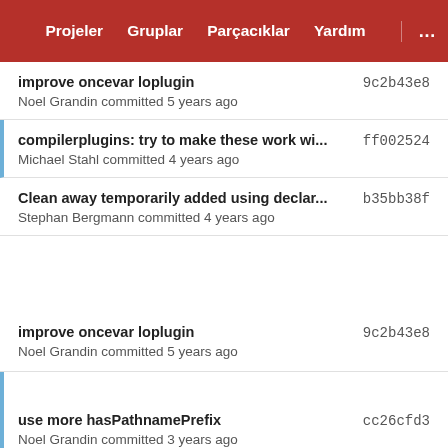Projeler  Gruplar  Parçacıklar  Yardım  ...
improve oncevar loplugin  9c2b43e8
Noel Grandin committed 5 years ago
compilerplugins: try to make these work wi...  ff002524
Michael Stahl committed 4 years ago
Clean away temporarily added using declar...  b35bb38f
Stephan Bergmann committed 4 years ago
improve oncevar loplugin  9c2b43e8
Noel Grandin committed 5 years ago
use more hasPathnamePrefix  cc26cfd3
Noel Grandin committed 3 years ago